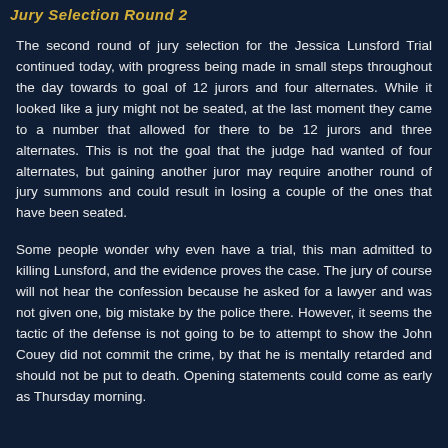Jury Selection Round 2
The second round of jury selection for the Jessica Lunsford Trial continued today, with progress being made in small steps throughout the day towards to goal of 12 jurors and four alternates. While it looked like a jury might not be seated, at the last moment they came to a number that allowed for there to be 12 jurors and three alternates. This is not the goal that the judge had wanted of four alternates, but gaining another juror may require another round of jury summons and could result in losing a couple of the ones that have been seated.
Some people wonder why even have a trial, this man admitted to killing Lunsford, and the evidence proves the case. The jury of course will not hear the confession because he asked for a lawyer and was not given one, big mistake by the police there. However, it seems the tactic of the defense is not going to be to attempt to show the John Couey did not commit the crime, by that he is mentally retarded and should not be put to death. Opening statements could come as early as Thursday morning.